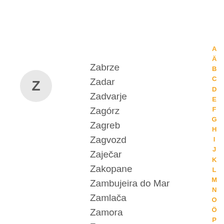[Figure (other): Circle badge with letter Z]
Zabrze
Zadar
Zadvarje
Zagórz
Zagreb
Zagvozd
Zaječar
Zakopane
Zambujeira do Mar
Zamlača
Zamora
Zamosc
Zaostrog
A Ä B C D E F G H I J K L M N O Ö P Q